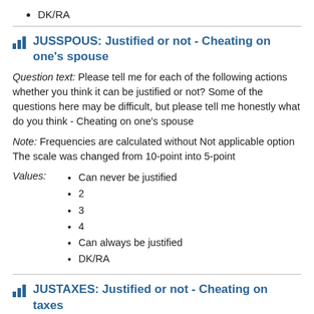DK/RA
JUSSPOUS: Justified or not - Cheating on one's spouse
Question text: Please tell me for each of the following actions whether you think it can be justified or not? Some of the questions here may be difficult, but please tell me honestly what do you think - Cheating on one's spouse
Note: Frequencies are calculated without Not applicable option
The scale was changed from 10-point into 5-point
Values:
Can never be justified
2
3
4
Can always be justified
DK/RA
JUSTAXES: Justified or not - Cheating on taxes
Question text: Please tell me for each of the following actions